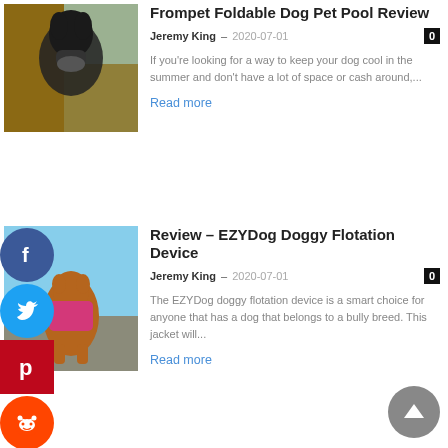[Figure (photo): Black wet dog with mouth open at a pool]
Frompet Foldable Dog Pet Pool Review
Jeremy King - 2020-07-01
If you're looking for a way to keep your dog cool in the summer and don't have a lot of space or cash around,...
Read more
[Figure (photo): Brown dog wearing a pink flotation device standing on rocks]
Review – EZYDog Doggy Flotation Device
Jeremy King - 2020-07-01
The EZYDog doggy flotation device is a smart choice for anyone that has a dog that belongs to a bully breed. This jacket will...
Read more